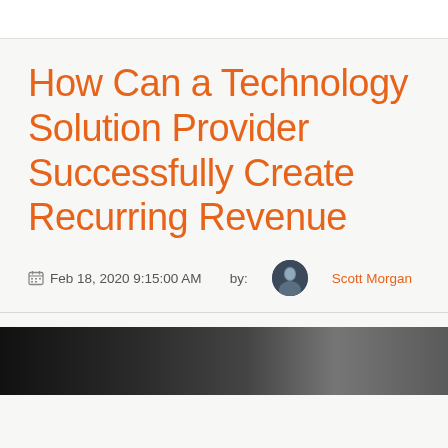How Can a Technology Solution Provider Successfully Create Recurring Revenue
Feb 18, 2020 9:15:00 AM  by: Scott Morgan
[Figure (photo): Partial photo at the bottom of the page, dark/black and white image]